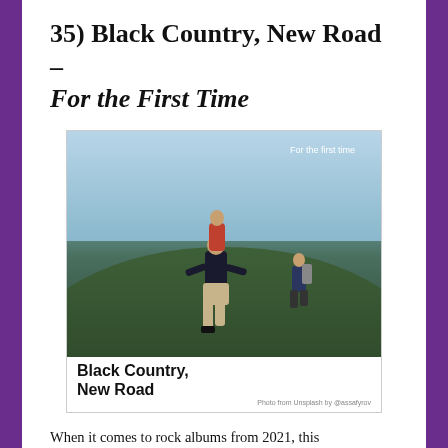35) Black Country, New Road – For the First Time
[Figure (photo): Album cover for Black Country, New Road 'For the First Time'. Shows people running up a grass hill against a light sky. Text 'For the first time' in top right, 'Black Country, New Road' in bold white text at bottom left. Photo credit: Photo from Unsplash by @assafyrov]
When it comes to rock albums from 2021, this